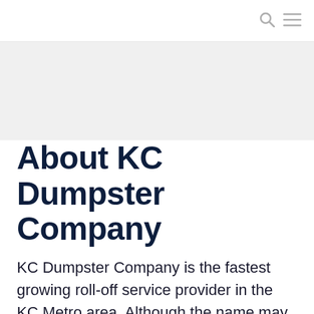About KC Dumpster Company
KC Dumpster Company is the fastest growing roll-off service provider in the KC Metro area. Although the name may be new to you, we have a strong reputation and deep roots here in the KC area. We have been in the construction clean up